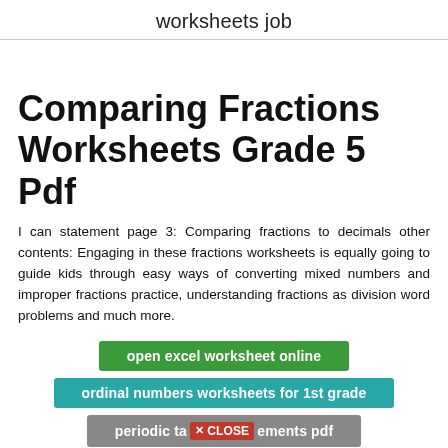worksheets job
Comparing Fractions Worksheets Grade 5 Pdf
I can statement page 3: Comparing fractions to decimals other contents: Engaging in these fractions worksheets is equally going to guide kids through easy ways of converting mixed numbers and improper fractions practice, understanding fractions as division word problems and much more.
open excel worksheet online
ordinal numbers worksheets for 1st grade
periodic ta [X CLOSE] ements pdf